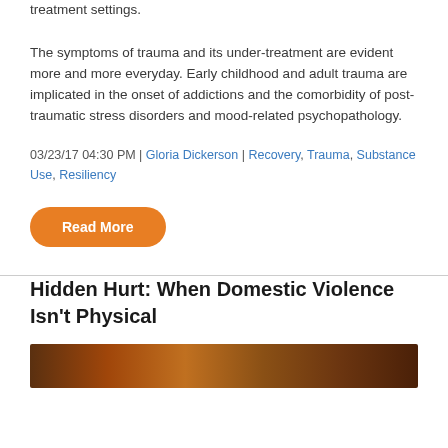treatment settings.
The symptoms of trauma and its under-treatment are evident more and more everyday. Early childhood and adult trauma are implicated in the onset of addictions and the comorbidity of post-traumatic stress disorders and mood-related psychopathology.
03/23/17 04:30 PM | Gloria Dickerson | Recovery, Trauma, Substance Use, Resiliency
Read More
Hidden Hurt: When Domestic Violence Isn't Physical
[Figure (photo): Partial image strip at the bottom of the page, showing a photo related to the article about domestic violence.]